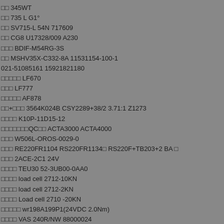□□ 345WT
□□ 735 L G1°
□□ SV715-L 54N 717609
□□ CG8 U17328/009 A230
□□□ BDIF-M54RG-3S
□□ MSHV35X-C332-8A 11531154-100-1
021-51085161 15921821180
□□□□□ LF670
□□□ LF777
□□□□□ AF878
□□+□□□ 3564K024B CSY2289+38/2 3.71:1 Z1273
□□□□ K10P-11D15-12
□□□□□□□QC□□ ACTA3000 ACTA4000
□□□ W506L-OROS-0029-0
□□□ RE220FR1104 RS220FR1134□ RS220F+TB203+2 BA □
□□□ 2ACE-2C1 24V
□□□□ TEU30 52-3UB00-0AA0
□□□□ load cell 2712-10KN
□□□□ load cell 2712-2KN
□□□□ Load cell 2710 -20KN
□□□□□ wr198A199P1(24VDC 2.0Nm)
□□□□ VAS 240R/NW 88000024